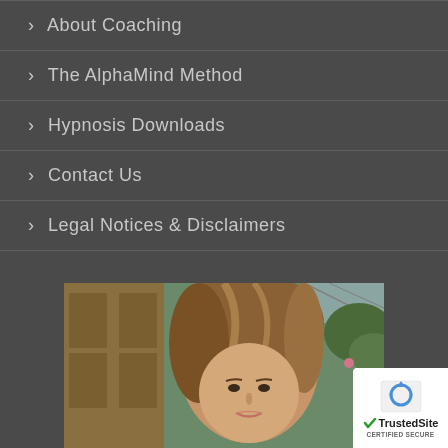> About Coaching
> The AlphaMind Method
> Hypnosis Downloads
> Contact Us
> Legal Notices & Disclaimers
[Figure (photo): Portrait photo of a young woman with long brown highlighted hair, outdoors near a wooden door/conservatory with greenery in background]
[Figure (logo): TrustedSite Certified Secure badge with reCAPTCHA icon]